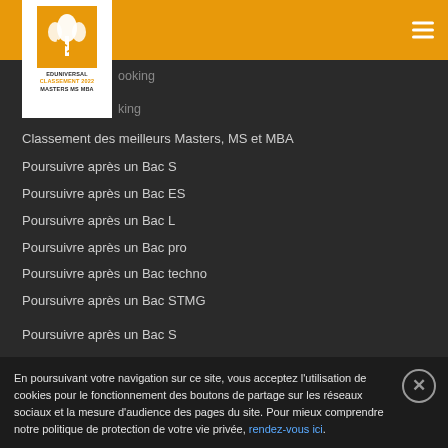[Figure (logo): Eduniversal logo: orange wheat/plant icon on white background with text EDUNIVERSAL CLASSEMENT 2022 MASTERS MS MBA]
ooking
king
Classement des meilleurs Masters, MS et MBA
Poursuivre après un Bac S
Poursuivre après un Bac ES
Poursuivre après un Bac L
Poursuivre après un Bac pro
Poursuivre après un Bac techno
Poursuivre après un Bac STMG
Poursuivre après un Bac S
Poursuivre après un Bac +2/3
Poursuivre après un Bac +4/5
En poursuivant votre navigation sur ce site, vous acceptez l'utilisation de cookies pour le fonctionnement des boutons de partage sur les réseaux sociaux et la mesure d'audience des pages du site. Pour mieux comprendre notre politique de protection de votre vie privée, rendez-vous ici.